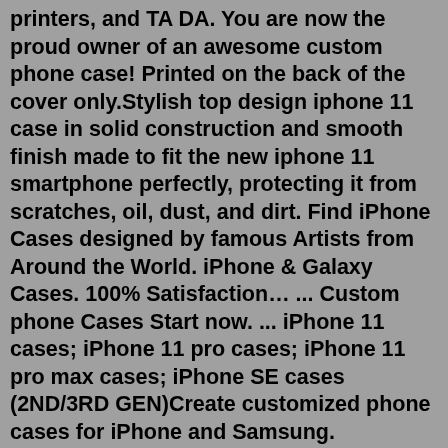printers, and TA DA. You are now the proud owner of an awesome custom phone case! Printed on the back of the cover only.Stylish top design iphone 11 case in solid construction and smooth finish made to fit the new iphone 11 smartphone perfectly, protecting it from scratches, oil, dust, and dirt. Find iPhone Cases designed by famous Artists from Around the World. iPhone & Galaxy Cases. 100% Satisfaction… ... Custom phone Cases Start now. ... iPhone 11 cases; iPhone 11 pro cases; iPhone 11 pro max cases; iPhone SE cases (2ND/3RD GEN)Create customized phone cases for iPhone and Samsung. Personalize phone cases with pictures, designs, and monograms. ... Our custom laptop cases fit computers under 15", while our tablet cases fit tablets under 11". Create a custom iPad case with a photo of your new puppy for a fun personal touch.Buy iPhone 11 Kazakhstan Flag In My DNA Country Almaty Nursultan Gift Case: Basic Cases - Amazon.com FREE DELIVERY possible on eligible purchasesBuy iphone 11 Case Series at GCPC. Check Price and Buy Online. Free Shipping